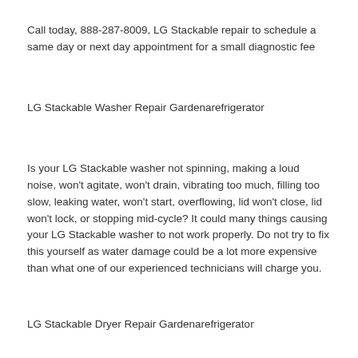Call today, 888-287-8009, LG Stackable repair to schedule a same day or next day appointment for a small diagnostic fee
LG Stackable Washer Repair Gardenarefrigerator
Is your LG Stackable washer not spinning, making a loud noise, won't agitate, won't drain, vibrating too much, filling too slow, leaking water, won't start, overflowing, lid won't close, lid won't lock, or stopping mid-cycle? It could many things causing your LG Stackable washer to not work properly. Do not try to fix this yourself as water damage could be a lot more expensive than what one of our experienced technicians will charge you.
LG Stackable Dryer Repair Gardenarefrigerator